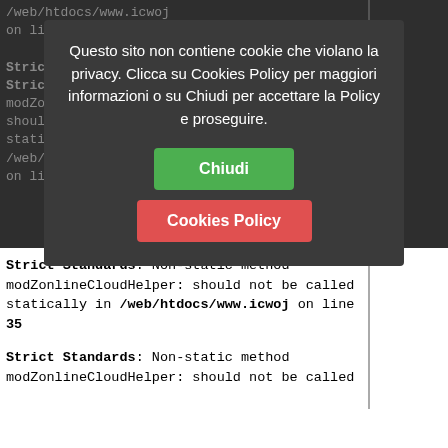/web/htdocs/www.icwoj on line 35 Strict Standards: Non-static method modZonlineCloudHelper: should not be called statically in /web/htdocs/www.icwoj on line 35
Questo sito non contiene cookie che violano la privacy. Clicca su Cookies Policy per maggiori informazioni o su Chiudi per accettare la Policy e proseguire.
Chiudi
Cookies Policy
Strict Standards: Non-static method modZonlineCloudHelper: should not be called statically in /web/htdocs/www.icwoj on line 35
Strict Standards: Non-static method modZonlineCloudHelper: should not be called